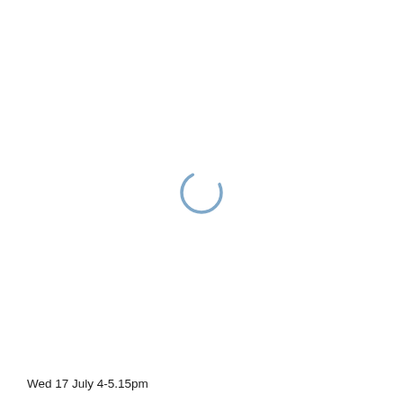[Figure (other): A loading spinner icon — a partial circle arc in a muted blue/steel color, positioned slightly right of center in the upper-middle area of the page.]
Wed 17 July 4-5.15pm